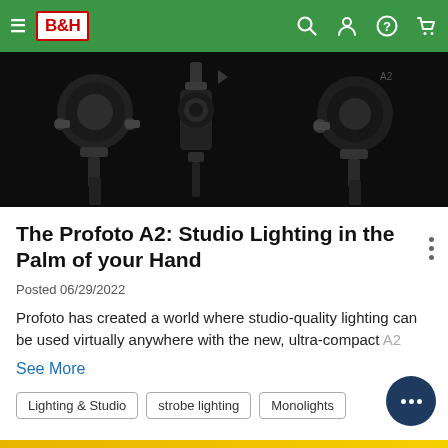B&H Photo navigation bar
[Figure (photo): Dark studio lighting equipment — two Profoto A2 flash units on black background, showing mechanical details and mounts]
The Profoto A2: Studio Lighting in the Palm of your Hand
Posted 06/29/2022
Profoto has created a world where studio-quality lighting can be used virtually anywhere with the new, ultra-compact A2
See More
Lighting & Studio
strobe lighting
Monolights